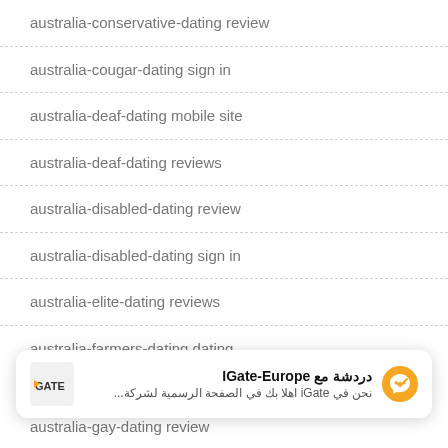australia-conservative-dating review
australia-cougar-dating sign in
australia-deaf-dating mobile site
australia-deaf-dating reviews
australia-disabled-dating review
australia-disabled-dating sign in
australia-elite-dating reviews
australia-farmers-dating dating
[Figure (other): iGate chat banner with Arabic text: دردشة مع IGate-Europe, نحن في iGate اهلا بك في الصفحة الرسمية لشركة...]
australia-gay-dating review